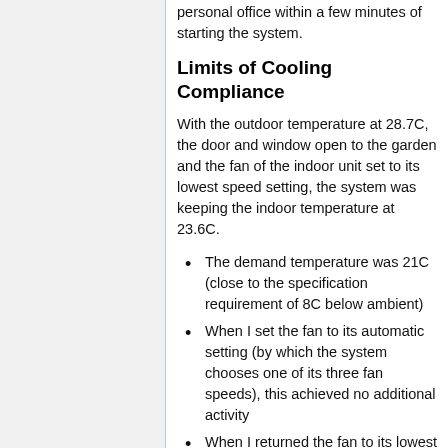personal office within a few minutes of starting the system.
Limits of Cooling Compliance
With the outdoor temperature at 28.7C, the door and window open to the garden and the fan of the indoor unit set to its lowest speed setting, the system was keeping the indoor temperature at 23.6C.
The demand temperature was 21C (close to the specification requirement of 8C below ambient)
When I set the fan to its automatic setting (by which the system chooses one of its three fan speeds), this achieved no additional activity
When I returned the fan to its lowest speed setting, and closed the door and window, the system reduced the